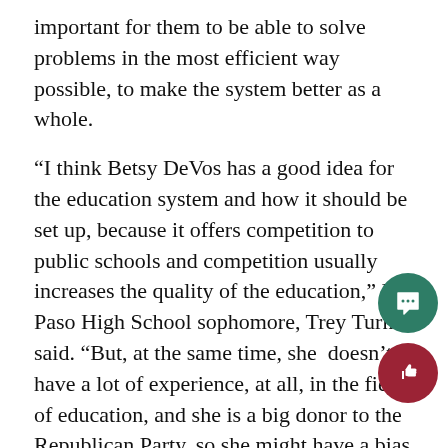important for them to be able to solve problems in the most efficient way possible, to make the system better as a whole.
“I think Betsy DeVos has a good idea for the education system and how it should be set up, because it offers competition to public schools and competition usually increases the quality of the education,” El Paso High School sophomore, Trey Turner said. “But, at the same time, she doesn’t have a lot of experience, at all, in the field of education, and she is a big donor to the Republican Party, so she might have a bias when it comes to making decisions about the education syste
DeVos is a businesswoman who hails from a wealthy family of billionaire business owne She grew up in Holland, Michigan where she